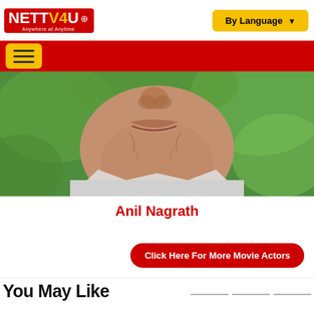[Figure (logo): NETTV4U logo with tagline 'Anywhere at Anytime' on red background]
[Figure (other): By Language dropdown button in yellow]
[Figure (other): Hamburger menu icon in yellow on red bar]
[Figure (photo): Close-up photo of Anil Nagrath's face (lower half), blurred background with green foliage]
Anil Nagrath
Click Here For More Movie Actors
You May Like